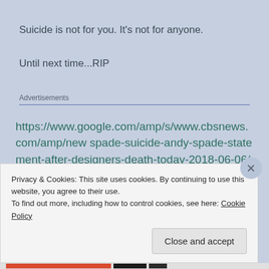Suicide is not for you. It's not for anyone.
Until next time...RIP
Advertisements
https://www.google.com/amp/s/www.cbsnews.com/amp/new spade-suicide-andy-spade-statement-after-designers-death-today-2018-06-06/
Privacy & Cookies: This site uses cookies. By continuing to use this website, you agree to their use.
To find out more, including how to control cookies, see here: Cookie Policy
Close and accept